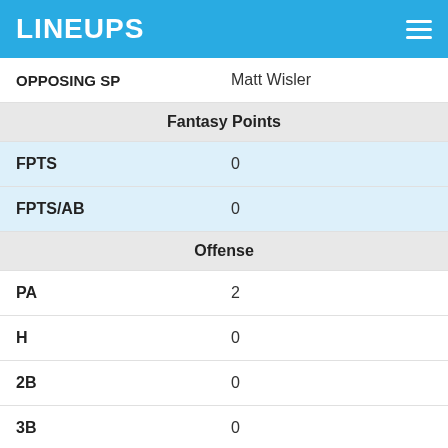LINEUPS
|  |  |
| --- | --- |
| OPPOSING SP | Matt Wisler |
| Fantasy Points |  |
| FPTS | 0 |
| FPTS/AB | 0 |
| Offense |  |
| PA | 2 |
| H | 0 |
| 2B | 0 |
| 3B | 0 |
| HR | 0 |
| R | 0 |
| RBI | 0 |
| SB | 0 |